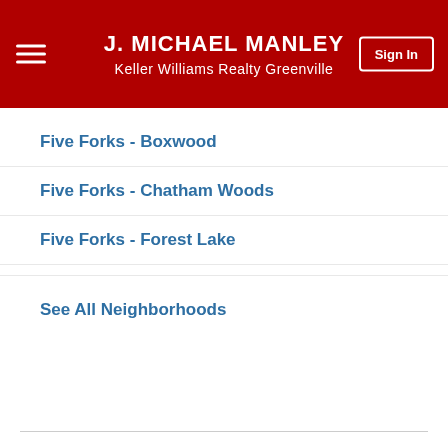J. MICHAEL MANLEY
Keller Williams Realty Greenville
Five Forks - Boxwood
Five Forks - Chatham Woods
Five Forks - Forest Lake
See All Neighborhoods